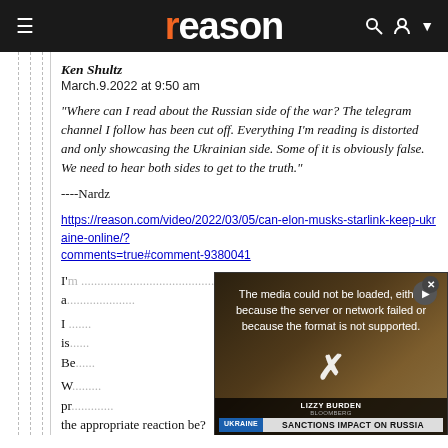reason
Ken Shultz
March.9.2022 at 9:50 am
"Where can I read about the Russian side of the war? The telegram channel I follow has been cut off. Everything I'm reading is distorted and only showcasing the Ukrainian side. Some of it is obviously false. We need to hear both sides to get to the truth."
----Nardz
https://reason.com/video/2022/03/05/can-elon-musks-starlink-keep-ukraine-online/?comments=true#comment-9380041
[Figure (screenshot): Video player overlay showing error: The media could not be loaded, either because the server or network failed or because the format is not supported. Bottom bar shows LIZZY BURDEN reporter name, and UKRAINE / SANCTIONS IMPACT ON RUSSIA chyron.]
I'm... the thread...
I s...
is...
Be...
W...
pr...
the appropriate reaction be?